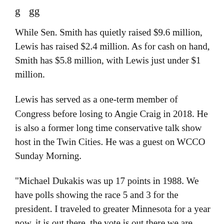g gg
While Sen. Smith has quietly raised $9.6 million, Lewis has raised $2.4 million. As for cash on hand, Smith has $5.8 million, with Lewis just under $1 million.
Lewis has served as a one-term member of Congress before losing to Angie Craig in 2018. He is also a former long time conservative talk show host in the Twin Cities. He was a guest on WCCO Sunday Morning.
"Michael Dukakis was up 17 points in 1988. We have polls showing the race 5 and 3 for the president. I traveled to greater Minnesota for a year now, it is out there, the vote is out there we are going to surprise some people just like the president did in 2016,"